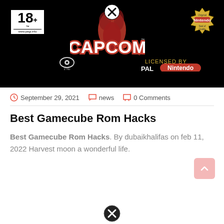[Figure (photo): Game cover/banner image showing Capcom logo, PEGI 18+ rating, PAL Nintendo seal of quality on black background, with a close button overlay at top]
September 29, 2021  news  0 Comments
Best Gamecube Rom Hacks
Best Gamecube Rom Hacks. By dubaikhalifas on feb 11, 2022 Harvest moon a wonderful life.